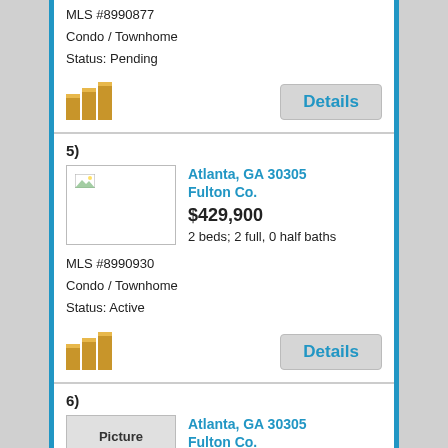MLS #8990877
Condo / Townhome
Status: Pending
[Figure (logo): Real estate brand logo (gold/orange stacked rectangles icon)]
Details
5)
[Figure (photo): Broken image placeholder for listing 5]
Atlanta, GA 30305
Fulton Co.
$429,900
2 beds; 2 full, 0 half baths
MLS #8990930
Condo / Townhome
Status: Active
[Figure (logo): Real estate brand logo (gold/orange stacked rectangles icon)]
Details
6)
[Figure (photo): Picture Coming Soon placeholder image]
Atlanta, GA 30305
Fulton Co.
$420,000
2 beds; 2 full, 0 half baths
MLS #6915651
Single Family Home